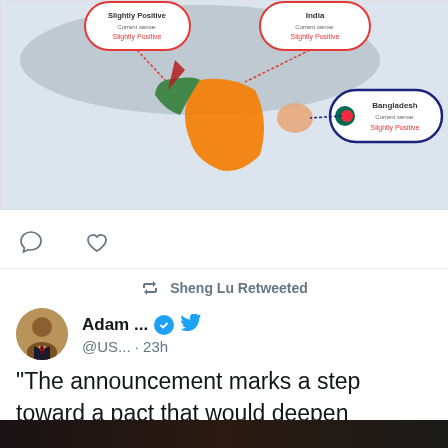[Figure (map): Geographic map of South/Southeast Asia showing countries with sentiment labels. Visible callouts include India (Slightly Positive), Bangladesh (Current sense: Slightly Positive), and other regions marked in orange, red, and grey tones.]
Sheng Lu Retweeted
Adam ... @US... · 23h
"The announcement marks a step toward a pact that would deepen economic and technological ties between the United States and Taiwan, after initial talks were announced in June." nytimes.com/2022/08/17/bus…
[Figure (photo): Dark nighttime photo, partially visible at bottom of page.]